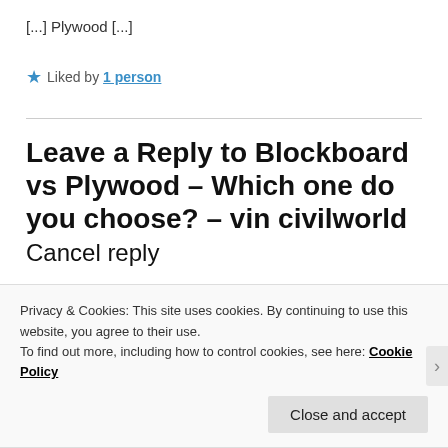[...] Plywood [...]
★ Liked by 1 person
Leave a Reply to Blockboard vs Plywood – Which one do you choose? – vin civilworld Cancel reply
Privacy & Cookies: This site uses cookies. By continuing to use this website, you agree to their use.
To find out more, including how to control cookies, see here: Cookie Policy
Close and accept